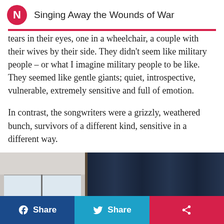Singing Away the Wounds of War
tears in their eyes, one in a wheelchair, a couple with their wives by their side. They didn't seem like military people – or what I imagine military people to be like. They seemed like gentle giants; quiet, introspective, vulnerable, extremely sensitive and full of emotion.
In contrast, the songwriters were a grizzly, weathered bunch, survivors of a different kind, sensitive in a different way.
[Figure (photo): Indoor scene with a window, curtain, and partial view of a person's head at the bottom right.]